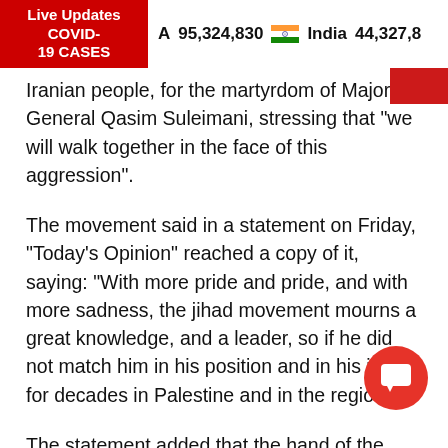Live Updates COVID-19 CASES   A 95,324,830   India 44,327,8
Iranian people, for the martyrdom of Major General Qasim Suleimani, stressing that “we will walk together in the face of this aggression”.
The movement said in a statement on Friday, “Today’s Opinion” reached a copy of it, saying: “With more pride and pride, and with more sadness, the jihad movement mourns a great knowledge, and a leader, so if he did not match him in his position and in his jihad for decades in Palestine and in the region”.
The statement added that the hand of the American-Israeli aggression, the hand of the Great Satan, targeted the martyr Suleimani he is on the front lines with this demon and rose